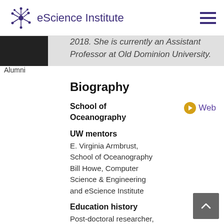eScience Institute
[Figure (photo): Black and white photo of a person, labeled Alumni]
2018. She is currently an Assistant Professor at Old Dominion University.
Biography
School of Oceanography
Web
UW mentors
E. Virginia Armbrust, School of Oceanography
Bill Howe, Computer Science & Engineering and eScience Institute
Education history
Post-doctoral researcher,